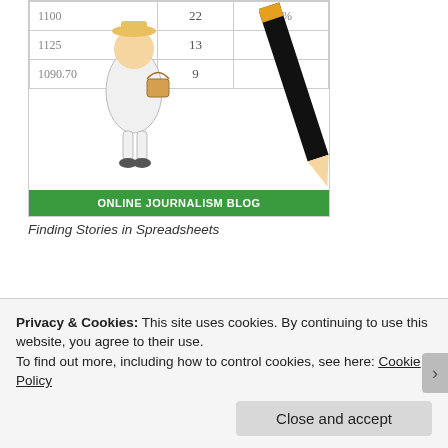[Figure (screenshot): Screenshot of Online Journalism Blog showing a spreadsheet table with numbers (1125, 1090.70), columns with values 13 and 9, a cartoon illustration of a journalist with a basket, a large pencil graphic overlaid, and a green banner reading 'ONLINE JOURNALISM BLOG']
Finding Stories in Spreadsheets
THAT BOOK ON DATA JOURNALISM
[Figure (screenshot): Partial screenshot showing red book icons, number 3, and a clock/timer icon on grey background]
Privacy & Cookies: This site uses cookies. By continuing to use this website, you agree to their use.
To find out more, including how to control cookies, see here: Cookie Policy
Close and accept